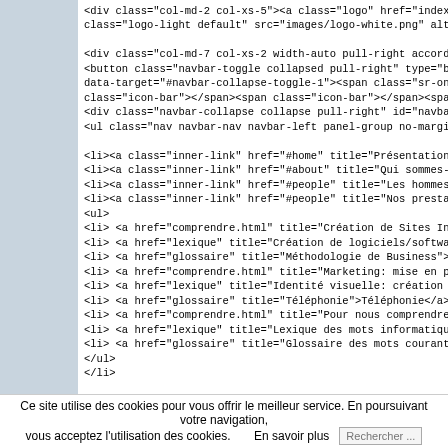HTML source code snippet showing Bootstrap navigation markup with div, button, ul, li, and a elements containing French navigation links for an EAI consulting website.
Ce site utilise des cookies pour vous offrir le meilleur service. En poursuivant votre navigation, vous acceptez l'utilisation des cookies.    En savoir plus    Rechercher ...